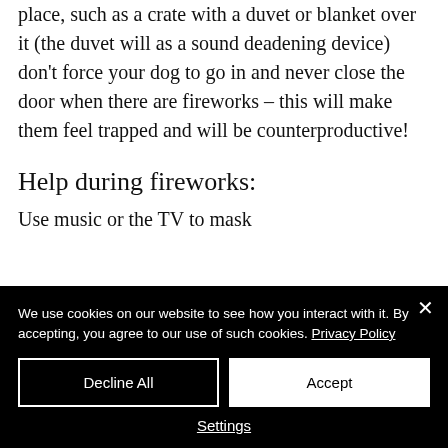place, such as a crate with a duvet or blanket over it (the duvet will as a sound deadening device) don't force your dog to go in and never close the door when there are fireworks – this will make them feel trapped and will be counterproductive!
Help during fireworks:
Use music or the TV to mask...
[Figure (screenshot): Cookie consent banner overlay on dark background. Text: 'We use cookies on our website to see how you interact with it. By accepting, you agree to our use of such cookies. Privacy Policy'. Buttons: 'Decline All', 'Accept', 'Settings'. Close (X) button in top right.]